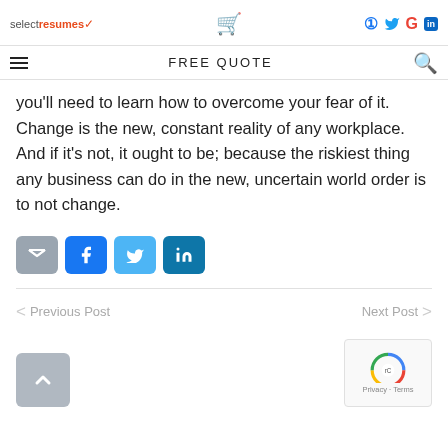selectresumes | FREE QUOTE
you'll need to learn how to overcome your fear of it. Change is the new, constant reality of any workplace. And if it's not, it ought to be; because the riskiest thing any business can do in the new, uncertain world order is to not change.
[Figure (infographic): Share buttons: email (gray), Facebook (blue), Twitter (light blue), LinkedIn (teal)]
< Previous Post    Next Post >